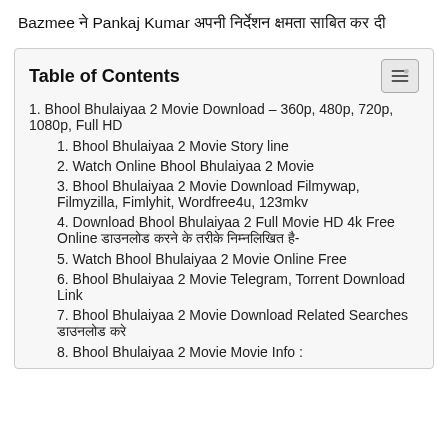Bazmee ने Pankaj Kumar अपनी निर्देशन क्षमता साबित कर दी
1. Bhool Bhulaiyaa 2 Movie Download – 360p, 480p, 720p, 1080p, Full HD
1. Bhool Bhulaiyaa 2 Movie Story line
2. Watch Online Bhool Bhulaiyaa 2 Movie
3. Bhool Bhulaiyaa 2 Movie Download Filmywap, Filmyzilla, Fimlyhit, Wordfree4u, 123mkv
4. Download Bhool Bhulaiyaa 2 Full Movie HD 4k Free Online डाउनलोड करने के तरीके निम्नलिखित है-
5. Watch Bhool Bhulaiyaa 2 Movie Online Free
6. Bhool Bhulaiyaa 2 Movie Telegram, Torrent Download Link
7. Bhool Bhulaiyaa 2 Movie Download Related Searches डाउनलोड करे
8. Bhool Bhulaiyaa 2 Movie Movie Info :